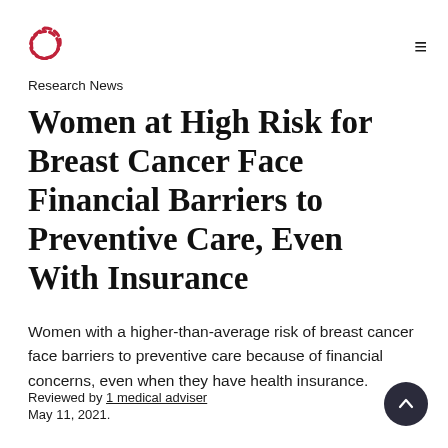Research News
Women at High Risk for Breast Cancer Face Financial Barriers to Preventive Care, Even With Insurance
Women with a higher-than-average risk of breast cancer face barriers to preventive care because of financial concerns, even when they have health insurance.
Reviewed by 1 medical adviser
May 11, 2021.